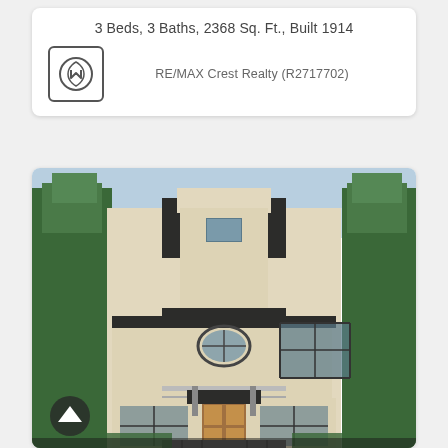3 Beds, 3 Baths, 2368 Sq. Ft., Built 1914
RE/MAX Crest Realty (R2717702)
[Figure (photo): Exterior photo of a multi-story luxury home with beige stucco facade, dark trim, oval window, large front door, and trees on each side. Navigation arrow overlay at bottom left.]